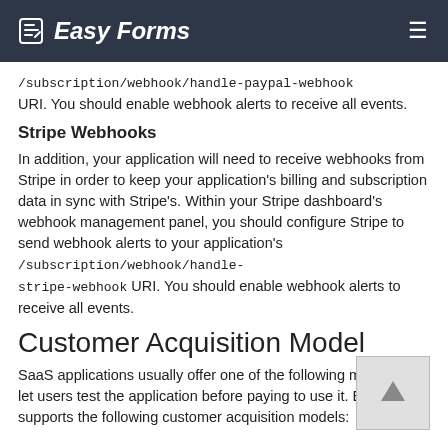Easy Forms
/subscription/webhook/handle-paypal-webhook URI. You should enable webhook alerts to receive all events.
Stripe Webhooks
In addition, your application will need to receive webhooks from Stripe in order to keep your application's billing and subscription data in sync with Stripe's. Within your Stripe dashboard's webhook management panel, you should configure Stripe to send webhook alerts to your application's /subscription/webhook/handle-stripe-webhook URI. You should enable webhook alerts to receive all events.
Customer Acquisition Model
SaaS applications usually offer one of the following models to let users test the application before paying to use it. Easy Forms supports the following customer acquisition models: